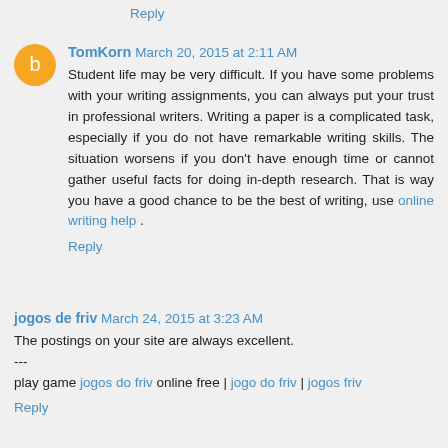Reply
TomKorn  March 20, 2015 at 2:11 AM
Student life may be very difficult. If you have some problems with your writing assignments, you can always put your trust in professional writers. Writing a paper is a complicated task, especially if you do not have remarkable writing skills. The situation worsens if you don't have enough time or cannot gather useful facts for doing in-depth research. That is way you have a good chance to be the best of writing, use online writing help .
Reply
jogos de friv  March 24, 2015 at 3:23 AM
The postings on your site are always excellent.
---
play game jogos do friv online free | jogo do friv | jogos friv
Reply